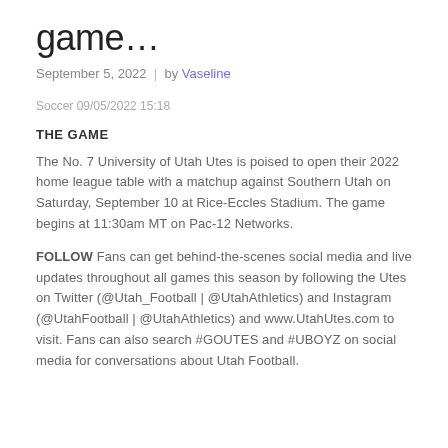game…
September 5, 2022  |  by Vaseline
Soccer 09/05/2022 15:18
THE GAME
The No. 7 University of Utah Utes is poised to open their 2022 home league table with a matchup against Southern Utah on Saturday, September 10 at Rice-Eccles Stadium. The game begins at 11:30am MT on Pac-12 Networks.
FOLLOW Fans can get behind-the-scenes social media and live updates throughout all games this season by following the Utes on Twitter (@Utah_Football | @UtahAthletics) and Instagram (@UtahFootball | @UtahAthletics) and www.UtahUtes.com to visit. Fans can also search #GOUTES and #UBOYZ on social media for conversations about Utah Football.